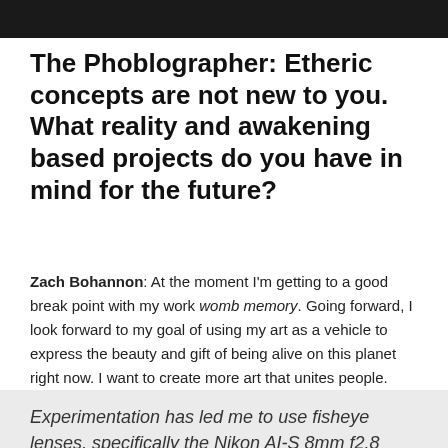[Figure (photo): Black header image bar at the top of the page]
The Phoblographer: Etheric concepts are not new to you. What reality and awakening based projects do you have in mind for the future?
Zach Bohannon: At the moment I'm getting to a good break point with my work womb memory. Going forward, I look forward to my goal of using my art as a vehicle to express the beauty and gift of being alive on this planet right now. I want to create more art that unites people. Accessibility is something I pay attention to when presenting the work (public space).
Experimentation has led me to use fisheye lenses, specifically the Nikon AI-S 8mm f2.8